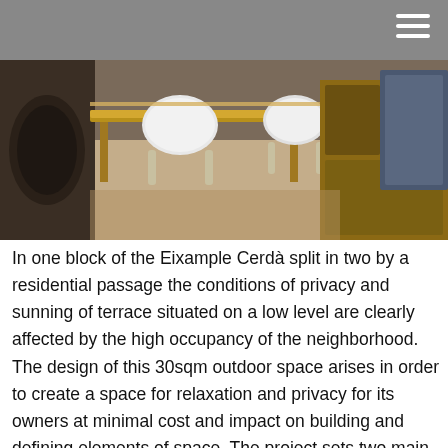[Figure (photo): Interior photo of a room with wooden furniture, white chairs, and a wood-toned floor seen from above/angle]
In one block of the Eixample Cerdà split in two by a residential passage the conditions of privacy and sunning of terrace situated on a low level are clearly affected by the high occupancy of the neighborhood. The design of this 30sqm outdoor space arises in order to create a space for relaxation and privacy for its owners at minimal cost and impact on building and defining elements of space. The project sets two main areas of activity, a lounge and outdoor dining, that provide comfort and extra solar control to the inner housing units. All intervention poses with drywall without altering the initial conditions of the finishes and the historic building enclosures -